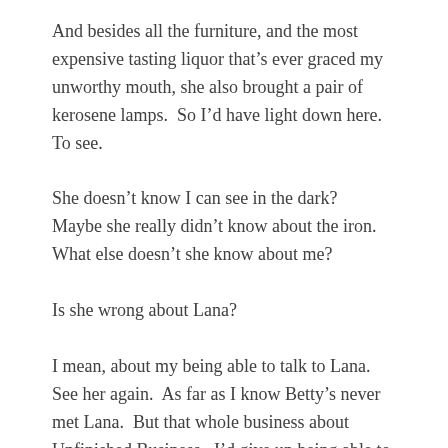And besides all the furniture, and the most expensive tasting liquor that's ever graced my unworthy mouth, she also brought a pair of kerosene lamps.  So I'd have light down here.  To see.
She doesn't know I can see in the dark?  Maybe she really didn't know about the iron.  What else doesn't she know about me?
Is she wrong about Lana?
I mean, about my being able to talk to Lana.  See her again.  As far as I know Betty's never met Lana.  But that whole business about Unfinished Business.  I'd give up being able to enjoy